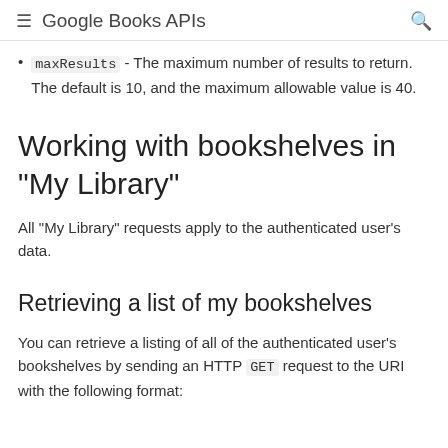Google Books APIs
maxResults - The maximum number of results to return. The default is 10, and the maximum allowable value is 40.
Working with bookshelves in "My Library"
All "My Library" requests apply to the authenticated user's data.
Retrieving a list of my bookshelves
You can retrieve a listing of all of the authenticated user's bookshelves by sending an HTTP GET request to the URI with the following format: